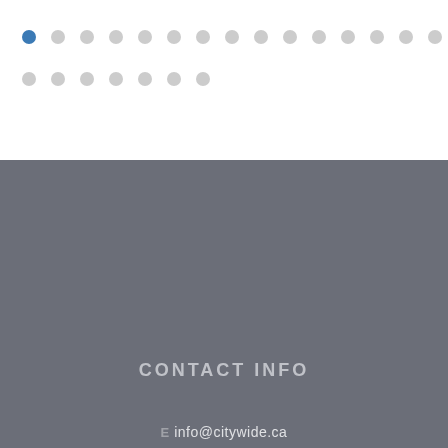[Figure (illustration): Two rows of decorative dots; first row has 15 dots with the first one highlighted in blue, second row has 7 dots all in light grey]
CONTACT INFO
E info@citywide.ca
P 604.786.3325
[Figure (logo): Citywide logo: letter C with letter W inside, enclosed in a circle, white outline on grey background]